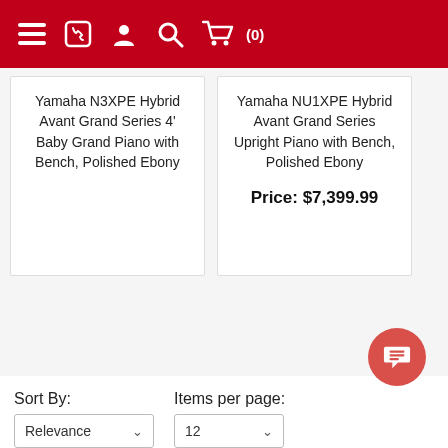Navigation header with menu, phone, account, search, and cart (0) icons
Yamaha N3XPE Hybrid Avant Grand Series 4' Baby Grand Piano with Bench, Polished Ebony
Yamaha NU1XPE Hybrid Avant Grand Series Upright Piano with Bench, Polished Ebony
Price: $7,399.99
Sort By:
Items per page:
Relevance
12